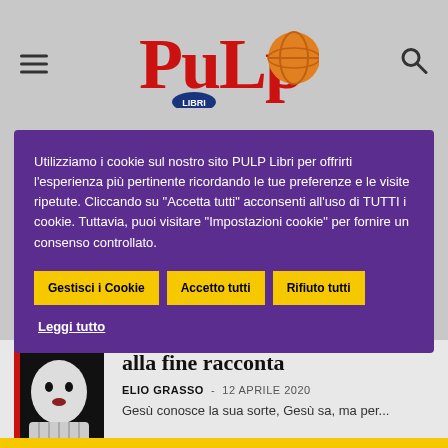PuLp LIBRI - QUOTIDIANO DEI LIBRI
Utilizziamo i cookie sul nostro sito PULP Libri per offrirti l'esperienza più pertinente ricordando le tue preferenze e le visite ripetute. Cliccando su "Accetta tutti" acconsenti all'uso di TUTTI i cookie. Tuttavia, puoi visitare "Impostazioni cookie" per fornire un consenso controllato.
Gestisci i Cookie | Accetto tutti | Rifiuto tutti
Leggi tutto
alla fine racconta
ELIO GRASSO  -  12 APRILE 2020
Gesù conosce la sua sorte, Gesù sa, ma per...